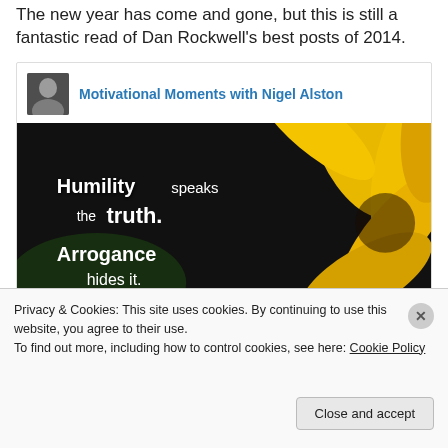The new year has come and gone, but this is still a fantastic read of Dan Rockwell's best posts of 2014.
[Figure (screenshot): Social media card embed for 'Motivational Moments with Nigel Alston' featuring an image with text: 'Humility speaks the truth. Arrogance hides it.' overlaid on a sunflower photo.]
Privacy & Cookies: This site uses cookies. By continuing to use this website, you agree to their use. To find out more, including how to control cookies, see here: Cookie Policy